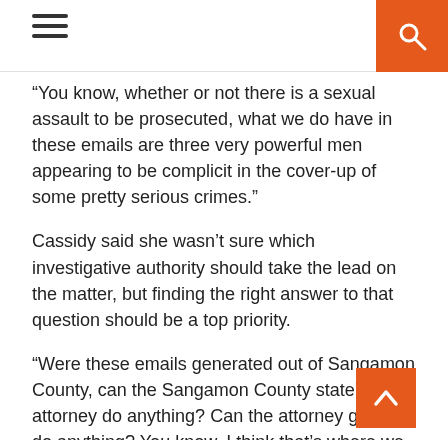Navigation header with hamburger menu and search button
“You know, whether or not there is a sexual assault to be prosecuted, what we do have in these emails are three very powerful men appearing to be complicit in the cover-up of some pretty serious crimes.”
Cassidy said she wasn’t sure which investigative authority should take the lead on the matter, but finding the right answer to that question should be a top priority.
“Were these emails generated out of Sangamon County, can the Sangamon County state’s attorney do anything? Can the attorney general do anything? You know, I think that’s where we need to really focus our attention first and foremost,” she said.
She said she was disappointed in the reported response of